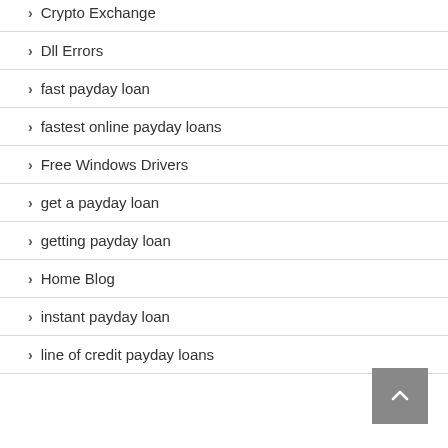Crypto Exchange
Dll Errors
fast payday loan
fastest online payday loans
Free Windows Drivers
get a payday loan
getting payday loan
Home Blog
instant payday loan
line of credit payday loans